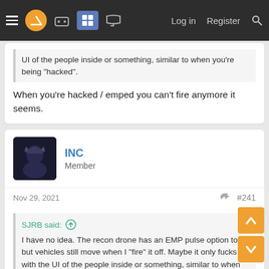Navigation bar with hamburger menu, logo, icons, Log in, Register, Search
UI of the people inside or something, similar to when you're being "hacked".
When you're hacked / emped you can't fire anymore it seems.
INC
Member
Nov 29, 2021
#241
SJRB said:
I have no idea. The recon drone has an EMP pulse option too, but vehicles still move when I "fire" it off. Maybe it only fucks with the UI of the people inside or something, similar to when you're being "hacked".
tEMP to me, should completely disasble the vehicle, ie if i hit